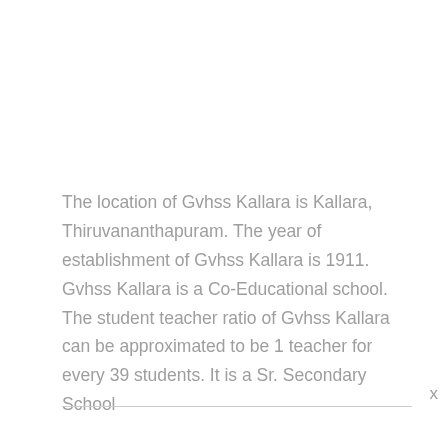The location of Gvhss Kallara is Kallara, Thiruvananthapuram. The year of establishment of Gvhss Kallara is 1911. Gvhss Kallara is a Co-Educational school. The student teacher ratio of Gvhss Kallara can be approximated to be 1 teacher for every 39 students. It is a Sr. Secondary School